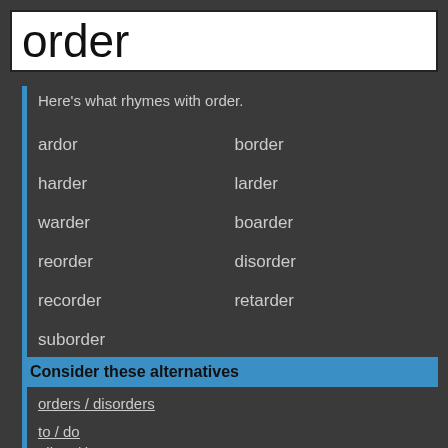order
Here's what rhymes with order.
ardor
border
harder
larder
warder
boarder
reorder
disorder
recorder
retarder
suborder
Consider these alternatives
orders / disorders
to / do
allow / how